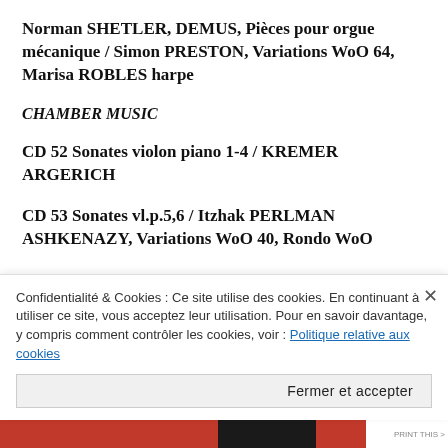Norman SHETLER, DEMUS, Pièces pour orgue mécanique / Simon PRESTON, Variations WoO 64, Marisa ROBLES harpe
CHAMBER MUSIC
CD 52 Sonates violon piano 1-4 / KREMER ARGERICH
CD 53 Sonates vl.p.5,6 / Itzhak PERLMAN ASHKENAZY, Variations WoO 40, Rondo WoO
Confidentialité & Cookies : Ce site utilise des cookies. En continuant à utiliser ce site, vous acceptez leur utilisation. Pour en savoir davantage, y compris comment contrôler les cookies, voir : Politique relative aux cookies
Fermer et accepter